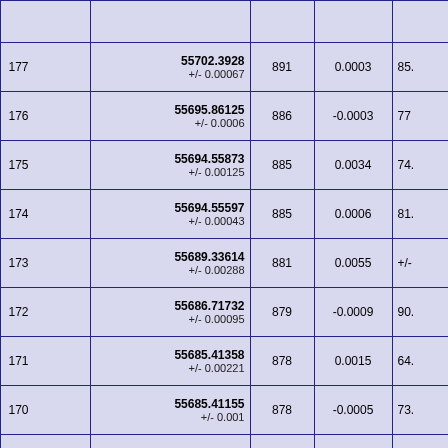| ID | Value (+/- err) | Col3 | Col4 | Col5 |
| --- | --- | --- | --- | --- |
| 177 | 55702.3928 +/- 0.00067 | 891 | 0.0003 | 85. |
| 176 | 55695.86125 +/- 0.0006 | 886 | -0.0003 | 77 |
| 175 | 55694.55873 +/- 0.00125 | 885 | 0.0034 | 74. |
| 174 | 55694.55597 +/- 0.00043 | 885 | 0.0006 | 81. |
| 173 | 55689.33614 +/- 0.00288 | 881 | 0.0055 | +/- |
| 172 | 55686.71732 +/- 0.00095 | 879 | -0.0009 | 90. |
| 171 | 55685.41358 +/- 0.00221 | 878 | 0.0015 | 64. |
| 170 | 55685.41155 +/- 0.001 | 878 | -0.0005 | 73. |
| 169 | 55682.80338 +/- 0.0011 | 876 | 0.0037 | 83. |
| 168 | 55682.79971 +/- ... | 876 | 0.0000 | 76. |